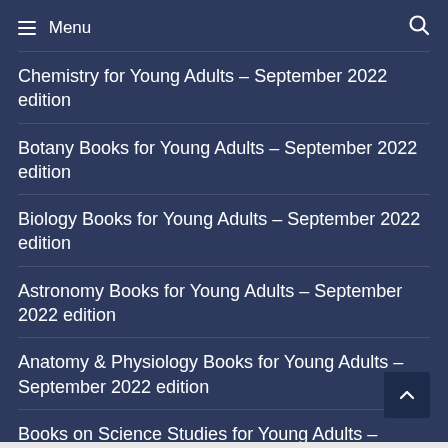Menu
Chemistry for Young Adults – September 2022 edition
Botany Books for Young Adults – September 2022 edition
Biology Books for Young Adults – September 2022 edition
Astronomy Books for Young Adults – September 2022 edition
Anatomy & Physiology Books for Young Adults – September 2022 edition
Books on Science Studies for Young Adults – September 2022 edition